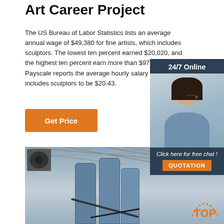Art Career Project
The US Bureau of Labor Statistics lists an average annual wage of $49,380 for fine artists, which includes sculptors. The lowest ten percent earned $20,020, and the highest ten percent earn more than $97,000. Payscale reports the average hourly salary for which includes sculptors to be $20.43.
Get Price
[Figure (photo): Customer service representative woman with headset, 24/7 Online chat widget overlay with orange QUOTATION button]
[Figure (photo): Industrial equipment (blue metal cylinders/tanks) inside a warehouse or industrial building]